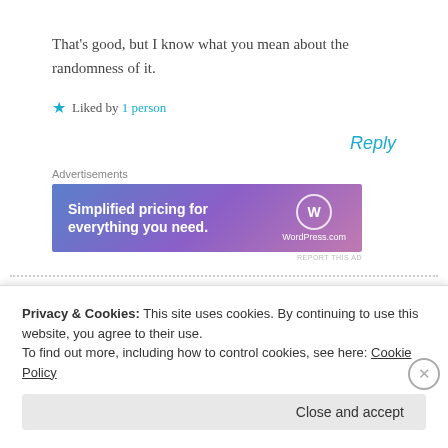That's good, but I know what you mean about the randomness of it.
Liked by 1 person
Reply
Advertisements
[Figure (other): WordPress.com advertisement banner: 'Simplified pricing for everything you need.' with WordPress.com logo]
REPORT THIS AD
Privacy & Cookies: This site uses cookies. By continuing to use this website, you agree to their use. To find out more, including how to control cookies, see here: Cookie Policy
Close and accept